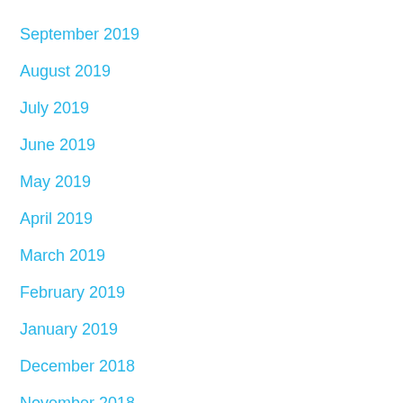September 2019
August 2019
July 2019
June 2019
May 2019
April 2019
March 2019
February 2019
January 2019
December 2018
November 2018
October 2018
September 2018
August 2018
July 2018